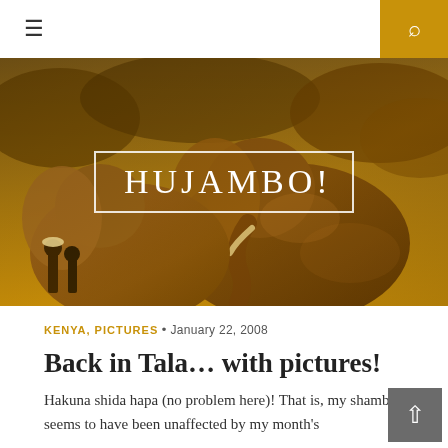☰   HUJAMBO! [search icon]
[Figure (photo): Sepia-toned hero image of elephants from behind, with people nearby, overlaid with the blog title 'HUJAMBO!' in a white-bordered box]
HUJAMBO!
KENYA, PICTURES • January 22, 2008
Back in Tala… with pictures!
Hakuna shida hapa (no problem here)! That is, my shamba seems to have been unaffected by my month's